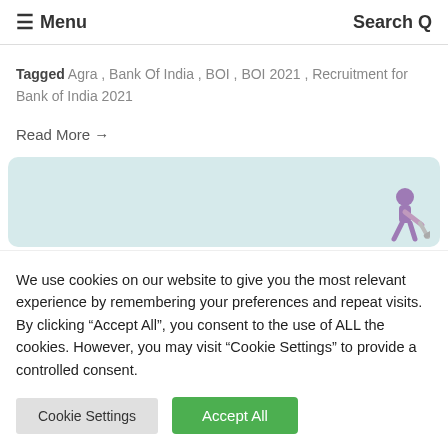≡ Menu   Search Q
Tagged Agra , Bank Of India , BOI , BOI 2021 , Recruitment for Bank of India 2021
Read More →
[Figure (illustration): Light teal/mint rounded banner with a small illustrated figure of a person digging or working, positioned at the bottom right.]
We use cookies on our website to give you the most relevant experience by remembering your preferences and repeat visits. By clicking "Accept All", you consent to the use of ALL the cookies. However, you may visit "Cookie Settings" to provide a controlled consent.